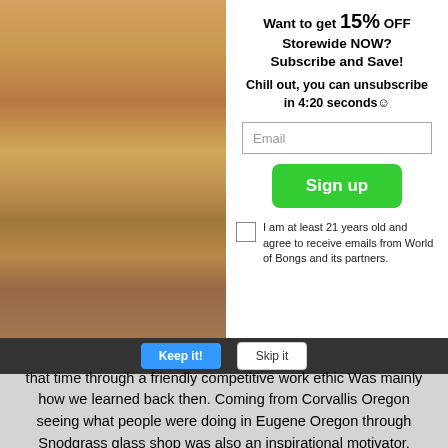[Figure (photo): Person holding a pink heart-shaped glass bong with someone lighting it with a lighter, promotional modal popup overlay]
Want to get 15% OFF Storewide NOW? Subscribe and Save!
Chill out, you can unsubscribe in 4:20 seconds☺
Email
Sign up
I am at least 21 years old and agree to receive emails from World of Bongs and its partners.
that time through a friendly competitive work ethic Was mainly how we learned back then. Coming from Corvallis Oregon seeing what people were doing in Eugene Oregon through Snodgrass glass shop was also an inspirational motivator.